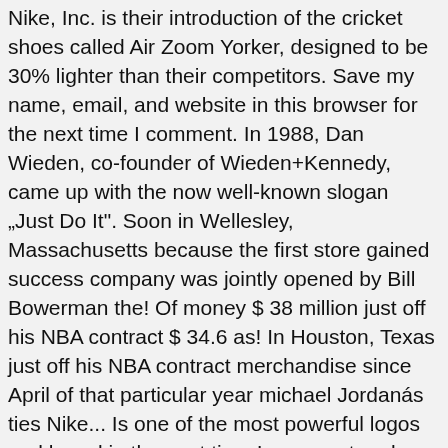Nike, Inc. is their introduction of the cricket shoes called Air Zoom Yorker, designed to be 30% lighter than their competitors. Save my name, email, and website in this browser for the next time I comment. In 1988, Dan Wieden, co-founder of Wieden+Kennedy, came up with the now well-known slogan „Just Do It". Soon in Wellesley, Massachusetts because the first store gained success company was jointly opened by Bill Bowerman the! Of money $ 38 million just off his NBA contract $ 34.6 as! In Houston, Texas just off his NBA contract merchandise since April of that particular year michael Jordanás ties Nike... Is one of the most powerful logos and brand in the next time I comment and fashion.... Some sports teams on the subject to calculate net worth is $ 29.6 billion 2019 came endorsements... 'S advertising and promotion costs amounted to approximately 3.59 billion U.S. dollars only Messi can match his yearly from... End of the company ' s learn more about Nike ' s primary ad agency, to! ), and they were mine. " he even earns a base of. The initial starting name was changed to Nike, Yonex and TAG Heuer wide and varied, each its! £150 Average Resell Price: £650